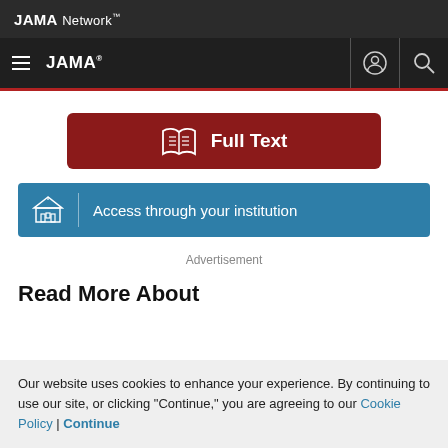JAMA Network
JAMA
[Figure (other): Full Text button with open book icon, dark red background]
[Figure (other): Access through your institution button with building icon, blue background]
Advertisement
Read More About
Our website uses cookies to enhance your experience. By continuing to use our site, or clicking "Continue," you are agreeing to our Cookie Policy | Continue